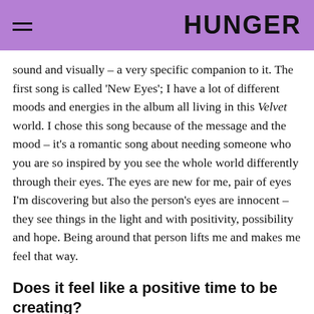HUNGER
sound and visually – a very specific companion to it. The first song is called 'New Eyes'; I have a lot of different moods and energies in the album all living in this Velvet world. I chose this song because of the message and the mood – it's a romantic song about needing someone who you are so inspired by you see the whole world differently through their eyes. The eyes are new for me, pair of eyes I'm discovering but also the person's eyes are innocent – they see things in the light and with positivity, possibility and hope. Being around that person lifts me and makes me feel that way.
Does it feel like a positive time to be creating?